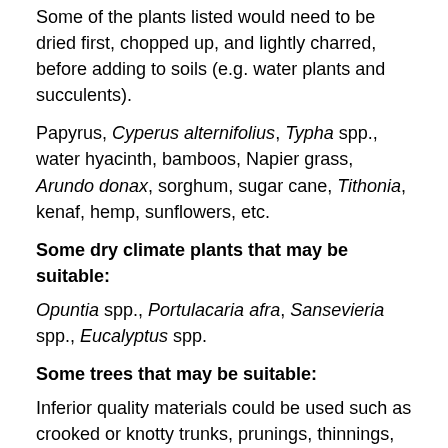Some of the plants listed would need to be dried first, chopped up, and lightly charred, before adding to soils (e.g. water plants and succulents).
Papyrus, Cyperus alternifolius, Typha spp., water hyacinth, bamboos, Napier grass, Arundo donax, sorghum, sugar cane, Tithonia, kenaf, hemp, sunflowers, etc.
Some dry climate plants that may be suitable:
Opuntia spp., Portulacaria afra, Sansevieria spp., Eucalyptus spp.
Some trees that may be suitable:
Inferior quality materials could be used such as crooked or knotty trunks, prunings, thinnings, smaller branches, bark, etc.